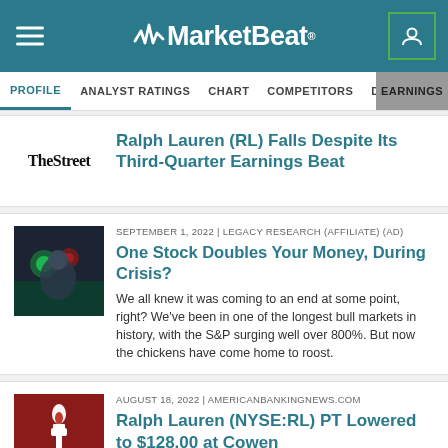MarketBeat
Ralph Lauren (RL) Falls Despite Its Third-Quarter Earnings Beat
SEPTEMBER 1, 2022 | LEGACY RESEARCH (AFFILIATE) (AD)
One Stock Doubles Your Money, During Crisis?
We all knew it was coming to an end at some point, right? We've been in one of the longest bull markets in history, with the S&P surging well over 800%. But now the chickens have come home to roost.
AUGUST 18, 2022 | AMERICANBANKINGNEWS.COM
Ralph Lauren (NYSE:RL) PT Lowered to $128.00 at Cowen